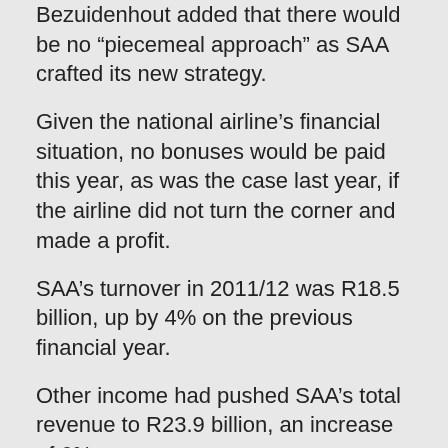Bezuidenhout added that there would be no “piecemeal approach” as SAA crafted its new strategy.
Given the national airline’s financial situation, no bonuses would be paid this year, as was the case last year, if the airline did not turn the corner and made a profit.
SAA’s turnover in 2011/12 was R18.5 billion, up by 4% on the previous financial year.
Other income had pushed SAA’s total revenue to R23.9 billion, an increase of 6%.
However, expenses — of which R8 302 billion spent on fuel was the biggest item or one third of operating costs — contributed to a total operating cost figure of R25.2 billion, giving SAA an operating loss/profit of R1.3 billion.